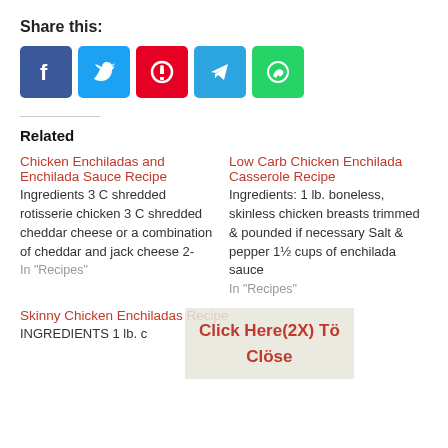Share this:
[Figure (infographic): Row of five social media share buttons: Facebook (blue), Twitter (light blue), Pinterest (red), Telegram (blue), WhatsApp (green)]
Related
Chicken Enchiladas and Enchilada Sauce Recipe
Ingredients 3 C shredded rotisserie chicken 3 C shredded cheddar cheese or a combination of cheddar and jack cheese 2-
In "Recipes"
Low Carb Chicken Enchilada Casserole Recipe
Ingredients: 1 lb. boneless, skinless chicken breasts trimmed & pounded if necessary Salt & pepper 1½ cups of enchilada sauce
In "Recipes"
Skinny Chicken Enchiladas Recipe
INGREDIENTS 1 lb. c
Click Here(2X) Tö Clöse